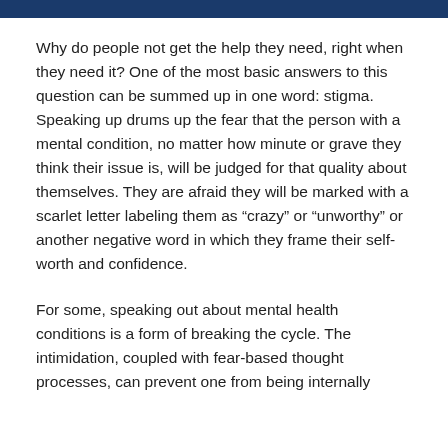Why do people not get the help they need, right when they need it? One of the most basic answers to this question can be summed up in one word: stigma. Speaking up drums up the fear that the person with a mental condition, no matter how minute or grave they think their issue is, will be judged for that quality about themselves. They are afraid they will be marked with a scarlet letter labeling them as “crazy” or “unworthy” or another negative word in which they frame their self-worth and confidence.
For some, speaking out about mental health conditions is a form of breaking the cycle. The intimidation, coupled with fear-based thought processes, can prevent one from being internally